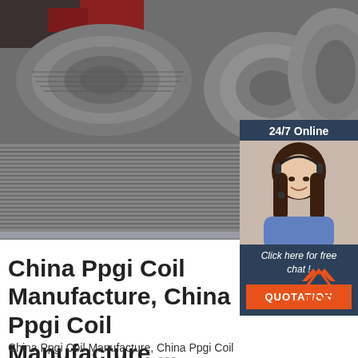[Figure (photo): Industrial steel wire coils/spools stacked in a warehouse or factory setting, showing multiple large rolls of grey wire or cable.]
[Figure (photo): Chat widget overlay in top-right corner: dark blue header with '24/7 Online', photo of smiling woman with headset, text 'Click here for free chat!', orange button labeled 'QUOTATION'.]
China Ppgi Coil Manufacture, China Ppgi Coil Manufacture ...
[Figure (logo): TOP logo with upward-pointing triangle/chevron shape above the word TOP in orange on white background.]
China Ppgi Coil Manufacture, China Ppgi Coil